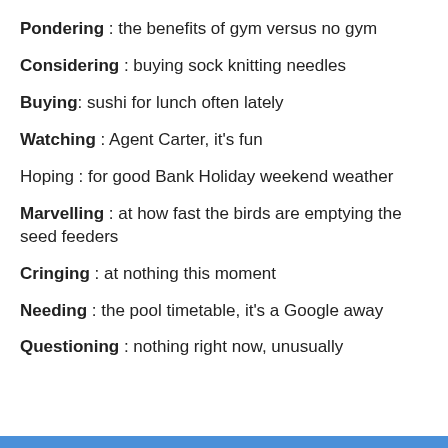Pondering : the benefits of gym versus no gym
Considering : buying sock knitting needles
Buying: sushi for lunch often lately
Watching : Agent Carter, it's fun
Hoping : for good Bank Holiday weekend weather
Marvelling : at how fast the birds are emptying the seed feeders
Cringing : at nothing this moment
Needing : the pool timetable, it's a Google away
Questioning : nothing right now, unusually